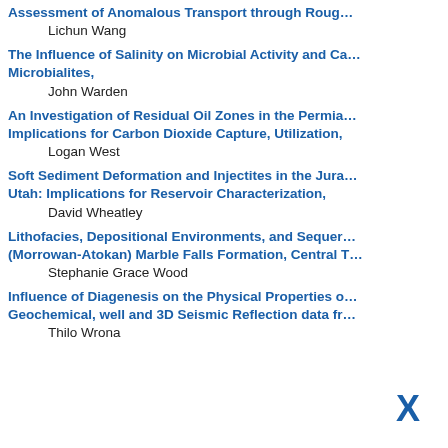Assessment of Anomalous Transport through Roug…
Lichun Wang
The Influence of Salinity on Microbial Activity and Ca… Microbialites,
John Warden
An Investigation of Residual Oil Zones in the Permia… Implications for Carbon Dioxide Capture, Utilization,
Logan West
Soft Sediment Deformation and Injectites in the Jura… Utah: Implications for Reservoir Characterization,
David Wheatley
Lithofacies, Depositional Environments, and Sequer… (Morrowan-Atokan) Marble Falls Formation, Central T
Stephanie Grace Wood
Influence of Diagenesis on the Physical Properties o… Geochemical, well and 3D Seismic Reflection data fr…
Thilo Wrona
X